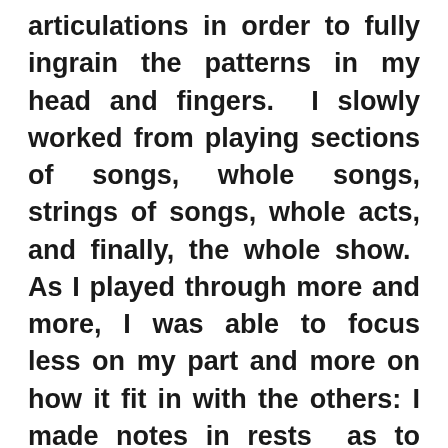articulations in order to fully ingrain the patterns in my head and fingers.  I slowly worked from playing sections of songs, whole songs, strings of songs, whole acts, and finally, the whole show.  As I played through more and more, I was able to focus less on my part and more on how it fit in with the others: I made notes in rests  as to other instruments playing or the passing of motivic ideas as well as times I was playing with others.  Meanwhile, I continued listening to the soundtrack in a variety of environments and focusing on different elements to glean other details